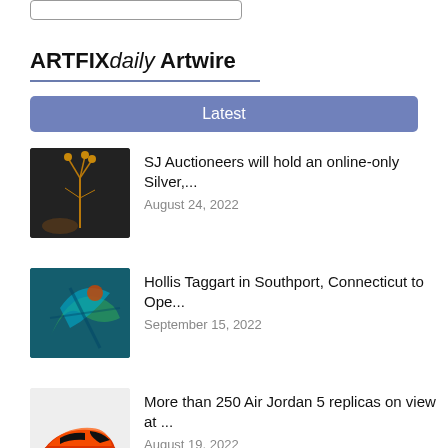[Figure (other): Search bar stub at top of page]
ARTFIXdaily Artwire
Latest
[Figure (photo): Thumbnail image of dried floral/botanical arrangement on dark background]
SJ Auctioneers will hold an online-only Silver,...
August 24, 2022
[Figure (photo): Thumbnail image of colorful abstract or bird painting with teal and blue tones]
Hollis Taggart in Southport, Connecticut to Ope...
September 15, 2022
[Figure (photo): Thumbnail image of colorful Air Jordan 5 sneaker replica with orange and black design]
More than 250 Air Jordan 5 replicas on view at ...
August 19, 2022